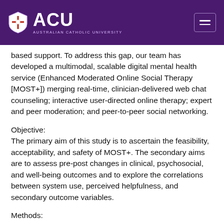[Figure (logo): ACU (Australian Catholic University) logo with shield icon on purple background header, with hamburger menu icon on the right]
based support. To address this gap, our team has developed a multimodal, scalable digital mental health service (Enhanced Moderated Online Social Therapy [MOST+]) merging real-time, clinician-delivered web chat counseling; interactive user-directed online therapy; expert and peer moderation; and peer-to-peer social networking.
Objective:
The primary aim of this study is to ascertain the feasibility, acceptability, and safety of MOST+. The secondary aims are to assess pre-post changes in clinical, psychosocial, and well-being outcomes and to explore the correlations between system use, perceived helpfulness, and secondary outcome variables.
Methods: